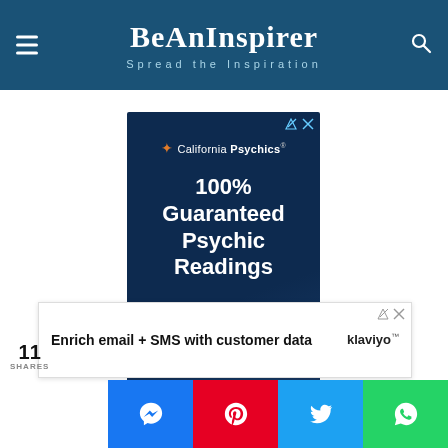BeAnInspirer — Spread the Inspiration
[Figure (other): California Psychics advertisement: dark blue background, orange star logo, text '100% Guaranteed Psychic Readings $1/ per...' with ad controls]
[Figure (other): Klaviyo advertisement banner: 'Enrich email + SMS with customer data' with Klaviyo logo]
11 SHARES
[Figure (infographic): Social share buttons: Messenger (blue), Pinterest (red), Twitter (light blue), WhatsApp (green)]